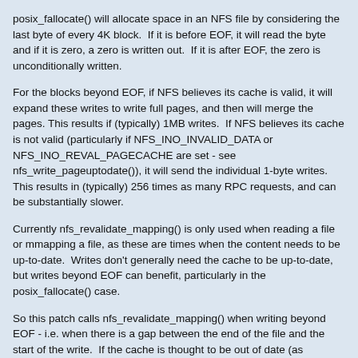posix_fallocate() will allocate space in an NFS file by considering the last byte of every 4K block.  If it is before EOF, it will read the byte and if it is zero, a zero is written out.  If it is after EOF, the zero is unconditionally written.
For the blocks beyond EOF, if NFS believes its cache is valid, it will expand these writes to write full pages, and then will merge the pages. This results if (typically) 1MB writes.  If NFS believes its cache is not valid (particularly if NFS_INO_INVALID_DATA or NFS_INO_REVAL_PAGECACHE are set - see nfs_write_pageuptodate()), it will send the individual 1-byte writes. This results in (typically) 256 times as many RPC requests, and can be substantially slower.
Currently nfs_revalidate_mapping() is only used when reading a file or mmapping a file, as these are times when the content needs to be up-to-date.  Writes don't generally need the cache to be up-to-date, but writes beyond EOF can benefit, particularly in the posix_fallocate() case.
So this patch calls nfs_revalidate_mapping() when writing beyond EOF - i.e. when there is a gap between the end of the file and the start of the write.  If the cache is thought to be out of date (as happens after taking a file lock), this will cause a GETATTR, and the two flags mentioned above will be cleared.  With this, posix_fallocate() on a